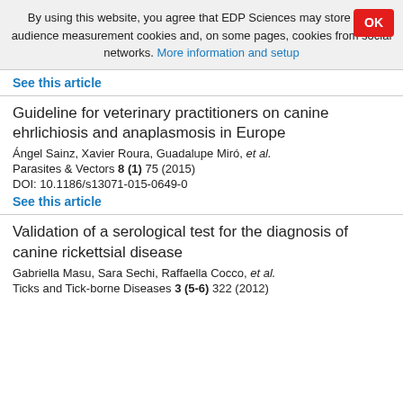By using this website, you agree that EDP Sciences may store web audience measurement cookies and, on some pages, cookies from social networks. More information and setup
See this article
Guideline for veterinary practitioners on canine ehrlichiosis and anaplasmosis in Europe
Ángel Sainz, Xavier Roura, Guadalupe Miró, et al.
Parasites & Vectors 8 (1) 75 (2015)
DOI: 10.1186/s13071-015-0649-0
See this article
Validation of a serological test for the diagnosis of canine rickettsial disease
Gabriella Masu, Sara Sechi, Raffaella Cocco, et al.
Ticks and Tick-borne Diseases 3 (5-6) 322 (2012)